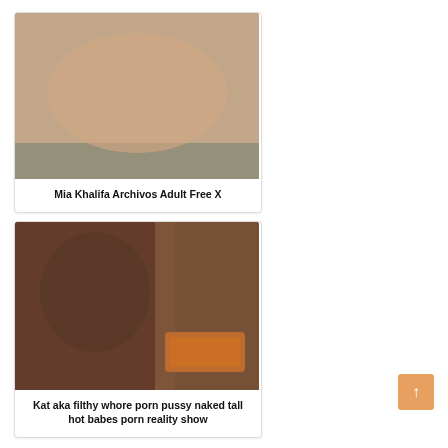[Figure (photo): Photo card 1 - adult content image]
Mia Khalifa Archivos Adult Free X
[Figure (photo): Photo card 2 - adult content image]
Kat aka filthy whore porn pussy naked tall hot babes porn reality show